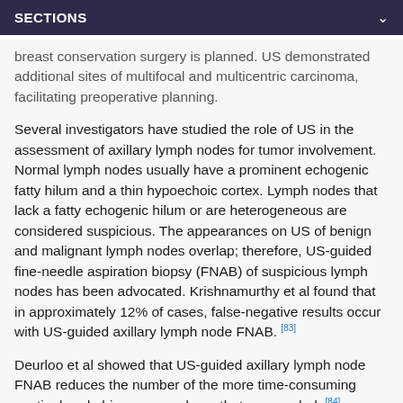SECTIONS
breast conservation surgery is planned. US demonstrated additional sites of multifocal and multicentric carcinoma, facilitating preoperative planning.
Several investigators have studied the role of US in the assessment of axillary lymph nodes for tumor involvement. Normal lymph nodes usually have a prominent echogenic fatty hilum and a thin hypoechoic cortex. Lymph nodes that lack a fatty echogenic hilum or are heterogeneous are considered suspicious. The appearances on US of benign and malignant lymph nodes overlap; therefore, US-guided fine-needle aspiration biopsy (FNAB) of suspicious lymph nodes has been advocated. Krishnamurthy et al found that in approximately 12% of cases, false-negative results occur with US-guided axillary lymph node FNAB. [83]
Deurloo et al showed that US-guided axillary lymph node FNAB reduces the number of the more time-consuming sentinel-node biopsy procedures that are needed. [84]